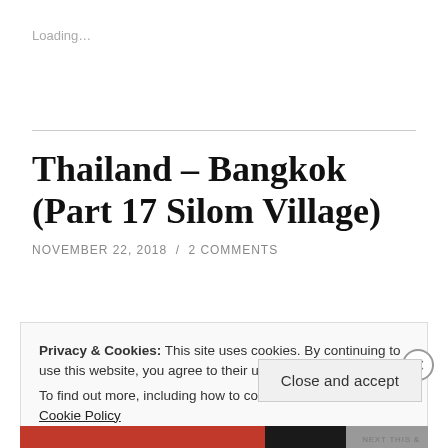Loading…
Thailand – Bangkok (Part 17 Silom Village)
NOVEMBER 22, 2018 / 2 COMMENTS
Privacy & Cookies: This site uses cookies. By continuing to use this website, you agree to their use.
To find out more, including how to control cookies, see here: Cookie Policy
Close and accept